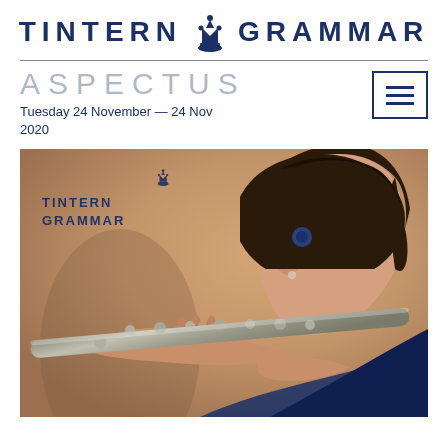TINTERN GRAMMAR
ASPECTUS
Tuesday 24 November — 24 Nov 2020
[Figure (photo): A student playing flute in profile view, with Tintern Grammar logo and name overlaid in the top-left corner. Warm orange/brown bokeh background.]